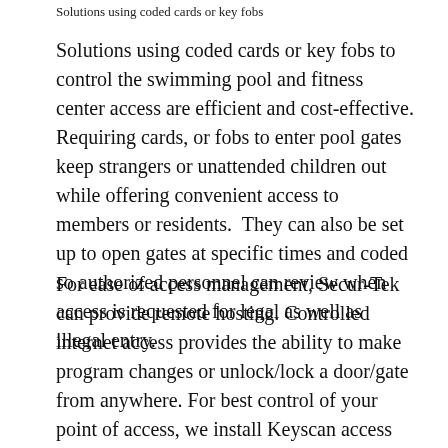Solutions using coded cards or key fobs to control
Solutions using coded cards or key fobs to control the swimming pool and fitness center access are efficient and cost-effective. Requiring cards, or fobs to enter pool gates keep strangers or unattended children out while offering convenient access to members or residents.  They can also be set up to open gates at specific times and coded so authorized personnel can review when access is requested for legal as well as illegal entry.
For ease of access management, Secur-Tek can provide remote hosting. Controlled internet access provides the ability to make program changes or unlock/lock a door/gate from anywhere. For best control of your point of access, we install Keyscan access systems manufactured by Dormakaba,